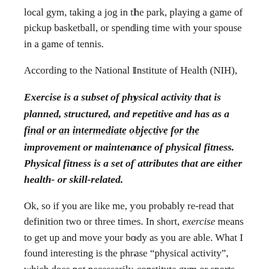local gym, taking a jog in the park, playing a game of pickup basketball, or spending time with your spouse in a game of tennis.
According to the National Institute of Health (NIH),
Exercise is a subset of physical activity that is planned, structured, and repetitive and has as a final or an intermediate objective for the improvement or maintenance of physical fitness. Physical fitness is a set of attributes that are either health- or skill-related.
Ok, so if you are like me, you probably re-read that definition two or three times. In short, exercise means to get up and move your body as you are able. What I found interesting is the phrase “physical activity”, which does not necessarily constitute gym or sports-related activity. Research published by The PMJ (Post Medical Journal) defined physical activity not only as exercise